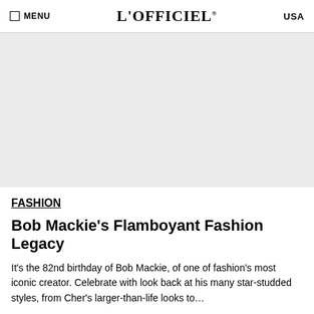MENU | L'OFFICIEL® | USA
[Figure (photo): Large light gray placeholder hero image area]
FASHION
Bob Mackie's Flamboyant Fashion Legacy
It's the 82nd birthday of Bob Mackie, of one of fashion's most iconic creator. Celebrate with look back at his many star-studded styles, from Cher's larger-than-life looks to…